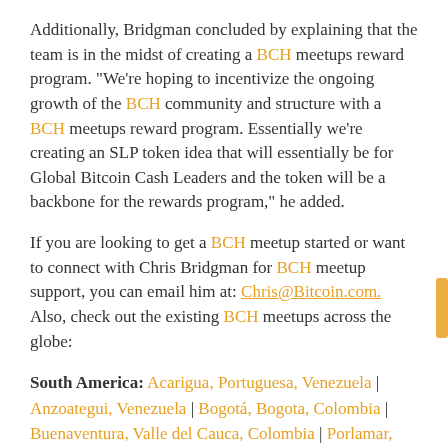Additionally, Bridgman concluded by explaining that the team is in the midst of creating a BCH meetups reward program. "We're hoping to incentivize the ongoing growth of the BCH community and structure with a BCH meetups reward program. Essentially we're creating an SLP token idea that will essentially be for Global Bitcoin Cash Leaders and the token will be a backbone for the rewards program," he added.
If you are looking to get a BCH meetup started or want to connect with Chris Bridgman for BCH meetup support, you can email him at: Chris@Bitcoin.com. Also, check out the existing BCH meetups across the globe:
South America: Acarigua, Portuguesa, Venezuela | Anzoategui, Venezuela | Bogotá, Bogota, Colombia | Buenaventura, Valle del Cauca, Colombia | Porlamar, Nueva Esparta, Venezuela | Recife – State of Pernambuco, Brazil | Rio de Janeiro, State of Rio de Janeiro, Brazil | São Paulo, State of São Paulo, Brazil | (more...)